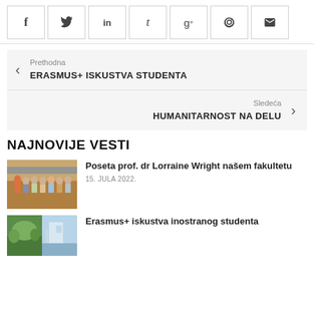[Figure (other): Social sharing icon buttons row: Facebook (f), Twitter, LinkedIn (in), Tumblr (t), Google+ (g+), Pinterest, Email]
< Prethodna
ERASMUS+ ISKUSTVA STUDENTA
Sledeća >
HUMANITARNOST NA DELU
NAJNOVIJE VESTI
[Figure (photo): Group photo of people at a faculty event]
Poseta prof. dr Lorraine Wright našem fakultetu
15. JULA 2022.
[Figure (photo): Two photos side by side: outdoor greenery and a bright exterior scene]
Erasmus+ iskustva inostranog studenta